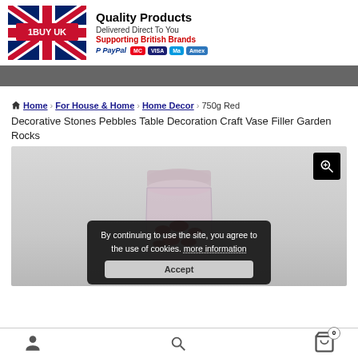[Figure (logo): 1BUY UK logo with Union Jack flag and red banner reading '1BUY UK'. Next to it: Quality Products text, Delivered Direct To You, Supporting British Brands in red, PayPal logo and card payment badges (MasterCard, Visa, Maestro, Amex).]
[Figure (illustration): Dark grey navigation bar]
Home › For House & Home › Home Decor › 750g Red Decorative Stones Pebbles Table Decoration Craft Vase Filler Garden Rocks
[Figure (photo): Product photo of a glass jar filled with red decorative stones/pebbles on a light grey background. A zoom magnifier button appears in top-right corner. A cookie consent popup overlays the lower portion reading: By continuing to use the site, you agree to the use of cookies. more information [Accept button]]
[Figure (infographic): Bottom navigation bar with person/account icon on left, shopping cart icon with badge '0' on right]